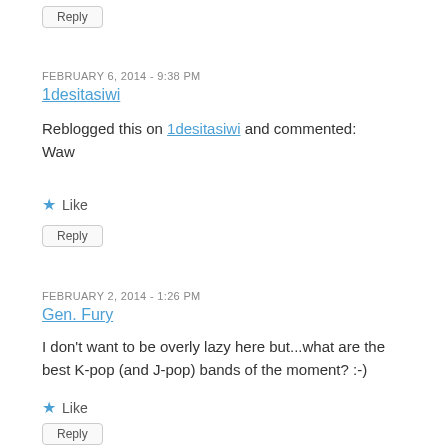Reply
FEBRUARY 6, 2014 - 9:38 PM
1desitasiwi
Reblogged this on 1desitasiwi and commented:
Waw
Like
Reply
FEBRUARY 2, 2014 - 1:26 PM
Gen. Fury
I don't want to be overly lazy here but...what are the best K-pop (and J-pop) bands of the moment? :-)
Like
Reply